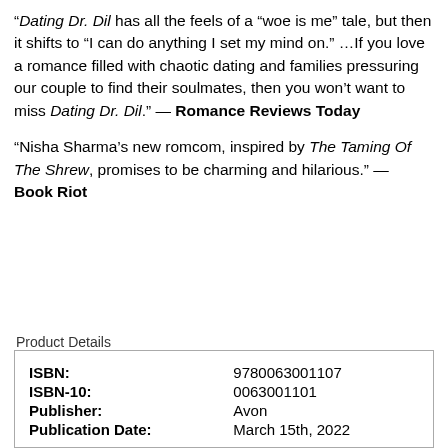“Dating Dr. Dil has all the feels of a “woe is me” tale, but then it shifts to “I can do anything I set my mind on.” …If you love a romance filled with chaotic dating and families pressuring our couple to find their soulmates, then you won’t want to miss Dating Dr. Dil.” — Romance Reviews Today
"Nisha Sharma’s new romcom, inspired by The Taming Of The Shrew, promises to be charming and hilarious." — Book Riot
Product Details
| ISBN: | 9780063001107 |
| ISBN-10: | 0063001101 |
| Publisher: | Avon |
| Publication Date: | March 15th, 2022 |